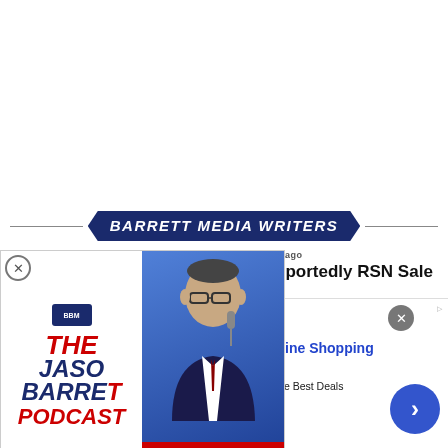[Figure (screenshot): Barrett Media Writers banner with arrow/chevron design in dark navy blue, white italic bold text reading BARRETT MEDIA WRITERS, horizontal gray lines on either side]
SPORTS TV NEWS / 22 hours ago
Diamond Sports Reportedly RSN Sale
SPORTS TV NEWS / 1 day ago
[Figure (screenshot): The Jason Barrett Podcast promotional graphic with Paul Finebaum Knows The Power overlay - left side shows red and navy blue text on white background, right side shows Paul Finebaum photo on blue background with red banner]
[Figure (screenshot): Groupon advertisement banner - Groupon Official Site | Online Shopping Deals, Discover & Save with Over 300k of the Best Deals, www.groupon.com, with product images on left and blue arrow button on right]